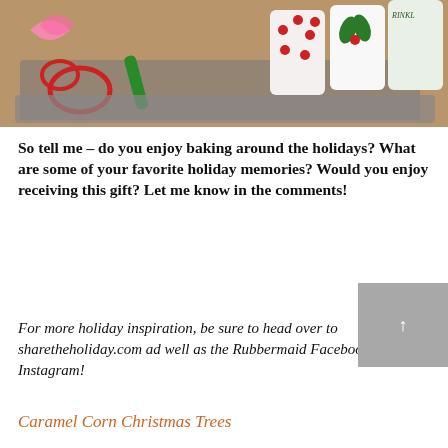[Figure (photo): A baking tray with holiday cookie cutters, icing tubes, and festively decorated sprinkle containers with Christmas patterns (polka dots, holly leaves).]
So tell me – do you enjoy baking around the holidays? What are some of your favorite holiday memories? Would you enjoy receiving this gift? Let me know in the comments!
For more holiday inspiration, be sure to head over to sharetheholiday.com ad well as the Rubbermaid Facebook and Instagram!
Caramel Corn Christmas Trees